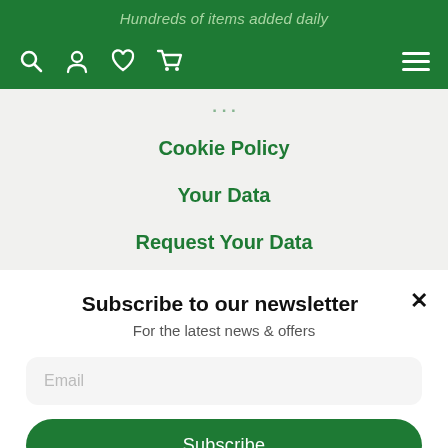Hundreds of items added daily
[Figure (screenshot): Navigation bar with search, user, heart/wishlist, cart icons on left and hamburger menu on right, all white on green background]
Cookie Policy
Your Data
Request Your Data
Subscribe to our newsletter
For the latest news & offers
Email
Subscribe